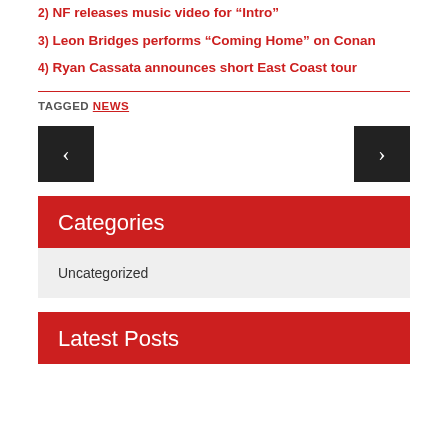2) NF releases music video for “Intro”
3) Leon Bridges performs “Coming Home” on Conan
4) Ryan Cassata announces short East Coast tour
TAGGED NEWS
[Figure (other): Left and right navigation arrow buttons (previous/next)]
Categories
Uncategorized
Latest Posts